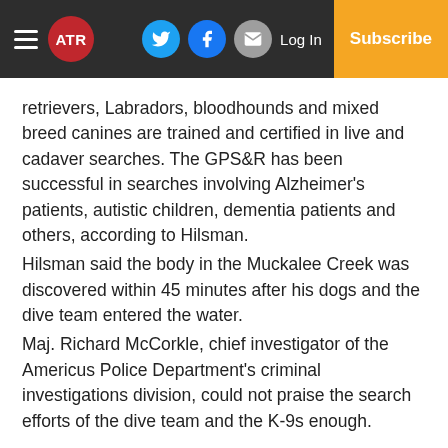ATR | Log In | Subscribe
retrievers, Labradors, bloodhounds and mixed breed canines are trained and certified in live and cadaver searches. The GPS&R has been successful in searches involving Alzheimer's patients, autistic children, dementia patients and others, according to Hilsman.
Hilsman said the body in the Muckalee Creek was discovered within 45 minutes after his dogs and the dive team entered the water.
Maj. Richard McCorkle, chief investigator of the Americus Police Department's criminal investigations division, could not praise the search efforts of the dive team and the K-9s enough.